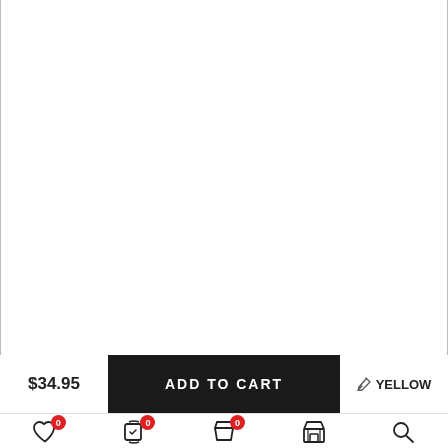[Figure (other): Empty product image area with left and right border lines]
$34.95
ADD TO CART
YELLOW
Wishlist 0  Compare 0  Cart 0  Shop  Search